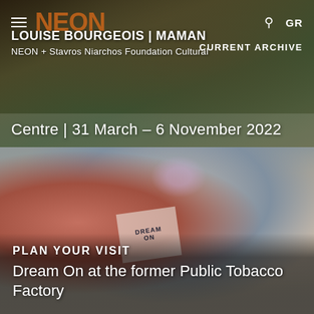[Figure (photo): Aerial/scenic view of outdoor art installation with large spider-like sculpture (Maman by Louise Bourgeois) in a park setting, used as background of top banner]
LOUISE BOURGEOIS | MAMAN
NEON + Stavros Niarchos Foundation Cultural Centre | 31 March – 6 November 2022
CURRENT ARCHIVE
[Figure (photo): Three women outdoors. Left: woman with red hair wearing purple tank top. Center: woman in black tank top wearing purple/lavender face mask, holding a 'DREAM ON' pamphlet. Right: woman with glasses in floral dress.]
PLAN YOUR VISIT
Dream On at the former Public Tobacco Factory